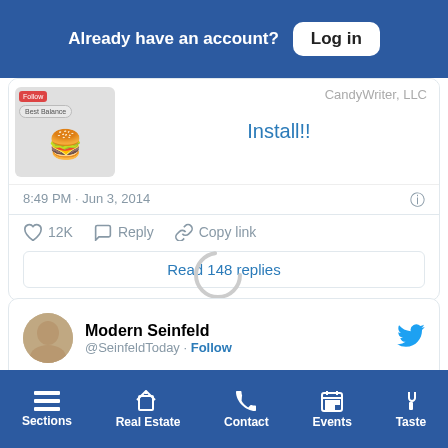Already have an account? Log in
[Figure (screenshot): Partial tweet card showing an advertisement overlay with an emoji face, 'Install!!' button, and a tweet timestamp '8:49 PM · Jun 3, 2014', with action icons showing 12K likes, Reply, Copy link, and a 'Read 148 replies' button.]
[Figure (screenshot): Loading spinner (circular arc) between tweet cards.]
[Figure (screenshot): Tweet from Modern Seinfeld (@SeinfeldToday) with Follow link and Twitter bird icon. Tweet text begins: 'George is too scared to break up with his intimidating girlfriend so he just repeatedly responds to her texts with']
Sections | Real Estate | Contact | Events | Taste